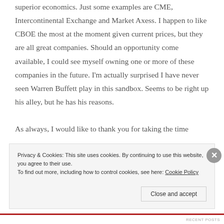superior economics. Just some examples are CME, Intercontinental Exchange and Market Axess. I happen to like CBOE the most at the moment given current prices, but they are all great companies. Should an opportunity come available, I could see myself owning one or more of these companies in the future. I'm actually surprised I have never seen Warren Buffett play in this sandbox. Seems to be right up his alley, but he has his reasons.

As always, I would like to thank you for taking the time
Privacy & Cookies: This site uses cookies. By continuing to use this website, you agree to their use.
To find out more, including how to control cookies, see here: Cookie Policy
Close and accept
RECENT POSTS